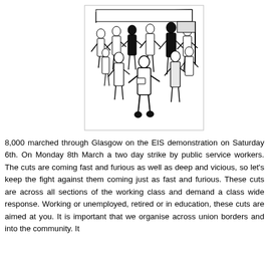[Figure (illustration): Black and white line drawing illustration of a crowd of people marching in a demonstration, with a banner visible at the top. Figures are drawn in a bold, stylized manner.]
8,000 marched through Glasgow on the EIS demonstration on Saturday 6th. On Monday 8th March a two day strike by public service workers. The cuts are coming fast and furious as well as deep and vicious, so let's keep the fight against them coming just as fast and furious. These cuts are across all sections of the working class and demand a class wide response. Working or unemployed, retired or in education, these cuts are aimed at you. It is important that we organise across union borders and into the community. It